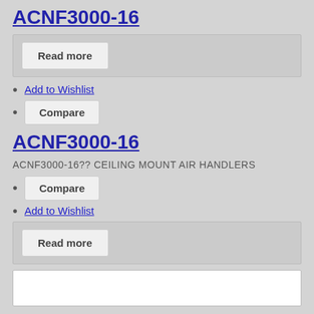ACNF3000-16
Read more
Add to Wishlist
Compare
ACNF3000-16
ACNF3000-16?? CEILING MOUNT AIR HANDLERS
Compare
Add to Wishlist
Read more